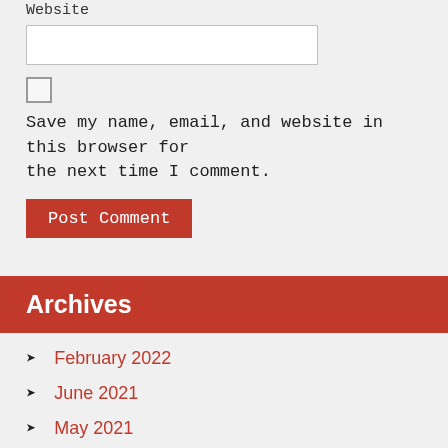Website
Save my name, email, and website in this browser for the next time I comment.
Post Comment
Archives
February 2022
June 2021
May 2021
April 2021
March 2021